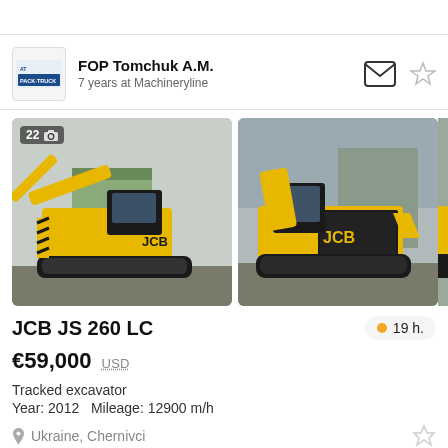[Figure (logo): FOP Tomchuk A.M. company logo — small square logo with AT initials]
FOP Tomchuk A.M.
7 years at Machineryline
[Figure (photo): JCB JS 260 LC tracked excavator, yellow and black, parked outside a building — photo 1 of 22]
[Figure (photo): JCB JS 260 LC tracked excavator, yellow and black, side view — photo 2]
JCB JS 260 LC
19 h.
€59,000  USD
Tracked excavator
Year: 2012   Mileage: 12900 m/h
Ukraine, Chernivci